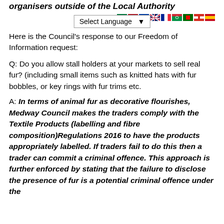organisers outside of the Local Authority
Here is the Council's response to our Freedom of Information request:
Q: Do you allow stall holders at your markets to sell real fur? (including small items such as knitted hats with fur bobbles, or key rings with fur trims etc.
A: In terms of animal fur as decorative flourishes, Medway Council makes the traders comply with the Textile Products (labelling and fibre composition)Regulations 2016 to have the products appropriately labelled. If traders fail to do this then a trader can commit a criminal offence. This approach is further enforced by stating that the failure to disclose the presence of fur is a potential criminal offence under the